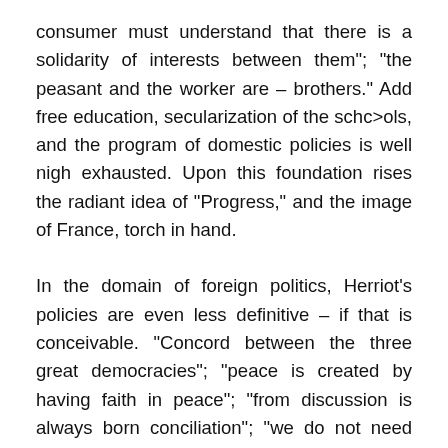consumer must understand that there is a solidarity of interests between them"; "the peasant and the worker are – brothers." Add free education, secularization of the schc>ols, and the program of domestic policies is well nigh exhausted. Upon this foundation rises the radiant idea of “Progress,” and the image of France, torch in hand.
In the domain of foreign politics, Herriot’s policies are even less definitive – if that is conceivable. “Concord between the three great democracies”; “peace is created by having faith in peace”; “from discussion is always born conciliation”; “we do not need general ideas –